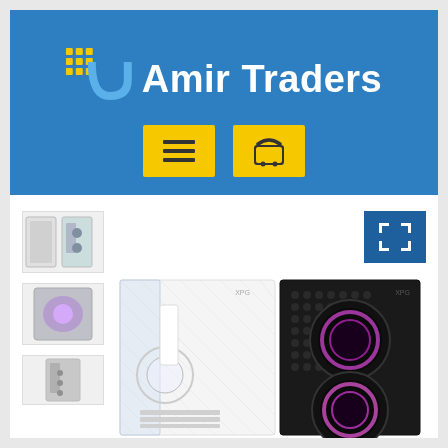[Figure (logo): Amir Traders logo with blue background, yellow/green grid icon, blue U-shaped symbol, and white text 'Amir Traders']
[Figure (screenshot): E-commerce product page with yellow navigation buttons (hamburger menu and shopping basket) on blue header]
[Figure (photo): PC case product photos showing white and black tower cases (XPG brand) with RGB fans, plus thumbnail column on the left]